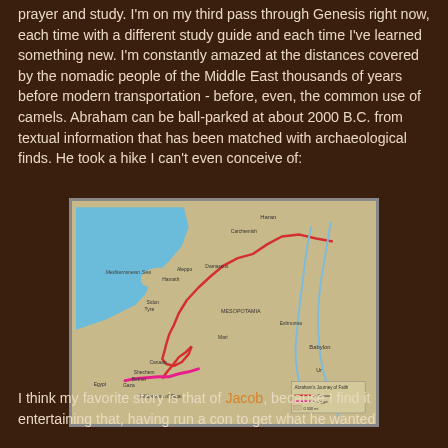prayer and study.  I'm on my third pass through Genesis right now, each time with a different study guide and each time I've learned something new.   I'm constantly amazed at the distances covered by the nomadic people of the Middle East thousands of years before modern transportation - before, even, the common use of camels.  Abraham can be ball-parked at about 2000 B.C. from textual information that has been matched with archaeological finds.  He took a hike I can't even conceive of:
[Figure (map): Map showing Abraham's journey through the ancient Middle East, including the Mediterranean Sea, Mesopotamia region, and surrounding areas. A red route line traces the journey from Ur through Haran and down through Canaan toward Egypt, with pink/magenta highlights near the bottom. Place names visible include Haran, Damascus, Sidon, Tyre, Babylon, and others.]
I think my favorite story is that of Jacob, because I find it entertaining that, having run a con to get what he wanted